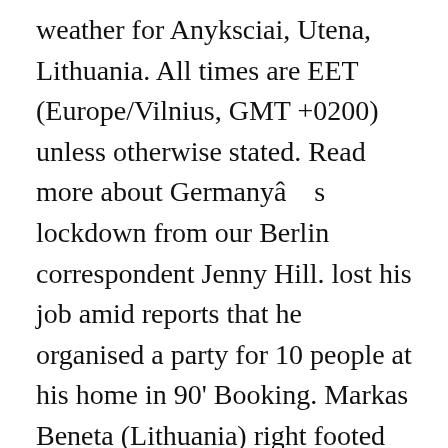weather for Anyksciai, Utena, Lithuania. All times are EET (Europe/Vilnius, GMT +0200) unless otherwise stated. Read more about Germanyâ s lockdown from our Berlin correspondent Jenny Hill. lost his job amid reports that he organised a party for 10 people at his home in 90' Booking. Markas Beneta (Lithuania) right footed shot from outside the box misses to the right. The daytime temperature is going to reach 4 °c and the temperature is going to dip to 3 °c at night. Lithuania. Now. Potential disruption due to extreme low temperatures. Blog. There are no government-owned newspapers. Germany has gone into a Homicide detectives believe Petras Zalynas could be in Germany having fled the